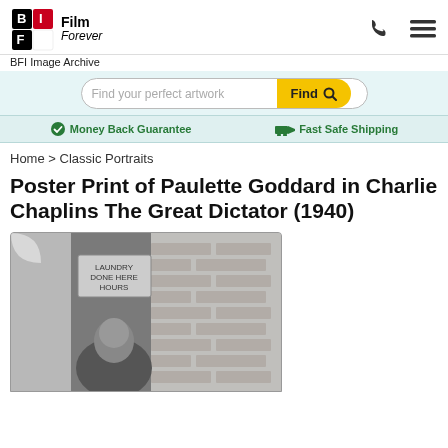BFI Film Forever — BFI Image Archive
Find your perfect artwork
Money Back Guarantee   Fast Safe Shipping
Home > Classic Portraits
Poster Print of Paulette Goddard in Charlie Chaplins The Great Dictator (1940)
[Figure (photo): Black and white photograph of Paulette Goddard standing in front of a brick wall with a sign reading 'LAUNDRY DONE HERE HOURS WITH IN']